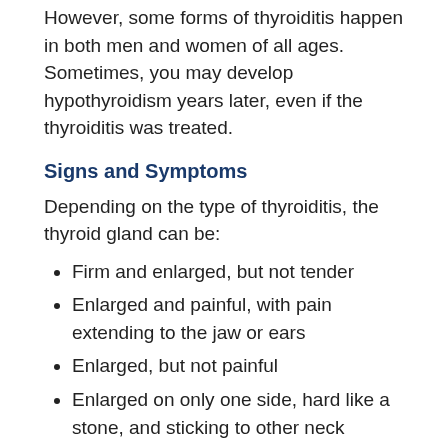However, some forms of thyroiditis happen in both men and women of all ages. Sometimes, you may develop hypothyroidism years later, even if the thyroiditis was treated.
Signs and Symptoms
Depending on the type of thyroiditis, the thyroid gland can be:
Firm and enlarged, but not tender
Enlarged and painful, with pain extending to the jaw or ears
Enlarged, but not painful
Enlarged on only one side, hard like a stone, and sticking to other neck structures
You may also have one or more of the following